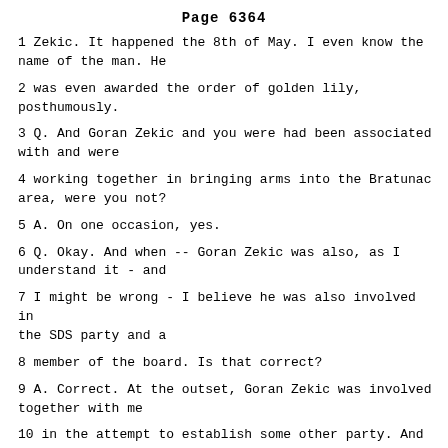Page 6364
1 Zekic. It happened the 8th of May. I even know the name of the man. He
2 was even awarded the order of golden lily, posthumously.
3 Q. And Goran Zekic and you were had been associated with and were
4 working together in bringing arms into the Bratunac area, were you not?
5 A. On one occasion, yes.
6 Q. Okay. And when -- Goran Zekic was also, as I understand it - and
7 I might be wrong - I believe he was also involved in the SDS party and a
8 member of the board. Is that correct?
9 A. Correct. At the outset, Goran Zekic was involved together with me
10 in the attempt to establish some other party. And when the SDS was formed
11 in Srebrenica, he was on the municipal board. After